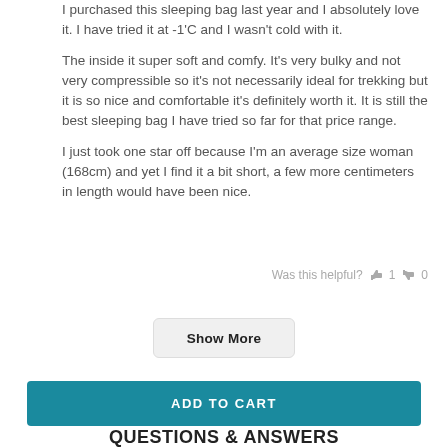I purchased this sleeping bag last year and I absolutely love it. I have tried it at -1'C and I wasn't cold with it.

The inside it super soft and comfy. It's very bulky and not very compressible so it's not necessarily ideal for trekking but it is so nice and comfortable it's definitely worth it. It is still the best sleeping bag I have tried so far for that price range.

I just took one star off because I'm an average size woman (168cm) and yet I find it a bit short, a few more centimeters in length would have been nice.
Was this helpful? 👍 1  👎 0
Show More
ADD TO CART
QUESTIONS & ANSWERS